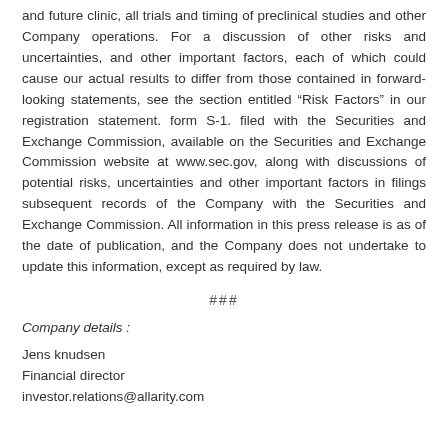and future clinic, all trials and timing of preclinical studies and other Company operations. For a discussion of other risks and uncertainties, and other important factors, each of which could cause our actual results to differ from those contained in forward-looking statements, see the section entitled “Risk Factors” in our registration statement. form S-1. filed with the Securities and Exchange Commission, available on the Securities and Exchange Commission website at www.sec.gov, along with discussions of potential risks, uncertainties and other important factors in filings subsequent records of the Company with the Securities and Exchange Commission. All information in this press release is as of the date of publication, and the Company does not undertake to update this information, except as required by law.
###
Company details :
Jens knudsen
Financial director
investor.relations@allarity.com